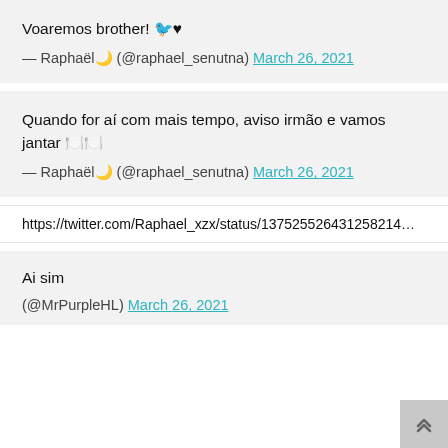Voaremos brother! 🐦♥
— Raphaël🌙 (@raphael_senutna) March 26, 2021
Quando for aí com mais tempo, aviso irmão e vamos jantar 🍽️🍽️
— Raphaël🌙 (@raphael_senutna) March 26, 2021
https://twitter.com/Raphael_xzx/status/137525526431258214...
Ai sim
(@MrPurpleHL) March 26, 2021